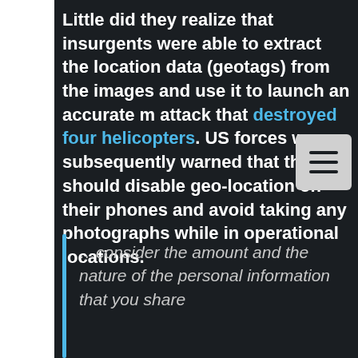Little did they realize that insurgents were able to extract the location data (geotags) from the images and use it to launch an accurate m attack that destroyed four helicopters. US forces were subsequently warned that they should disable geo-location on their phones and avoid taking any photographs while in operational locations.
…consider the amount and the nature of the personal information that you share